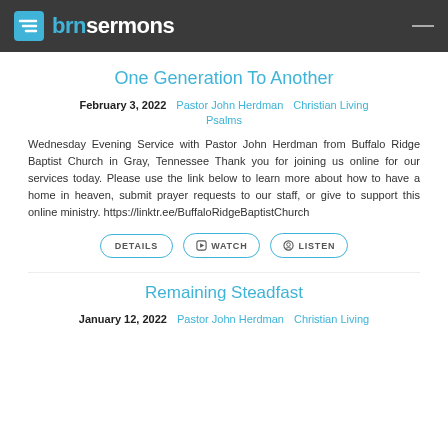brnsermons
One Generation To Another
February 3, 2022   Pastor John Herdman   Christian Living   Psalms
Wednesday Evening Service with Pastor John Herdman from Buffalo Ridge Baptist Church in Gray, Tennessee Thank you for joining us online for our services today. Please use the link below to learn more about how to have a home in heaven, submit prayer requests to our staff, or give to support this online ministry. https://linktr.ee/BuffaloRidgeBaptistChurch
DETAILS   WATCH   LISTEN
Remaining Steadfast
January 12, 2022   Pastor John Herdman   Christian Living